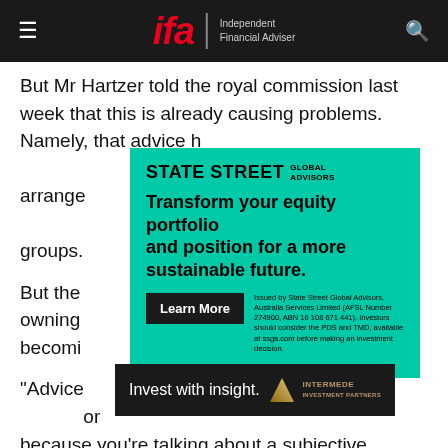ifa Independent Financial Adviser
But Mr Hartzer told the royal commission last week that this is already causing problems. Namely, that advice has become fragmented under vertical arrangement structures in order to serve different groups.
[Figure (infographic): State Street Global Advisors advertisement on green background. Text: 'Transform your equity portfolio and position for a more sustainable future.' with Learn More button and disclaimer text.]
But the royal commission has been told that owning the advice business is becoming a risk.
"Advice is inherently a challenging issue to monitor because you're talking about a subjective conversation between two people at some point," he said.
[Figure (infographic): Intermede Investment Partners advertisement on dark background. Text: 'Invest with insight.' with gold triangle logo and INTERMEDE branding.]
"Investing inevitably has a level of subjectivity around it, which can drive different results and results don't necessarily come out the way you expect them to. The standards of documentation and proof